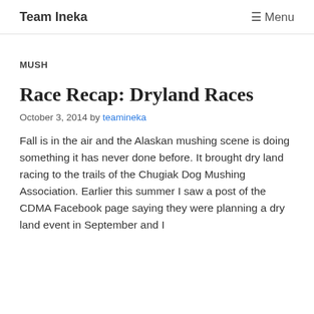Team Ineka   ☰ Menu
MUSH
Race Recap: Dryland Races
October 3, 2014 by teamineka
Fall is in the air and the Alaskan mushing scene is doing something it has never done before. It brought dry land racing to the trails of the Chugiak Dog Mushing Association. Earlier this summer I saw a post of the CDMA Facebook page saying they were planning a dry land event in September and I